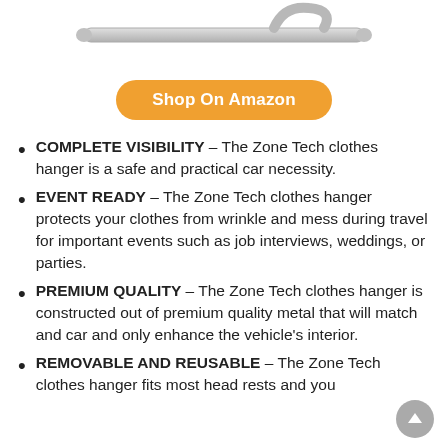[Figure (photo): Partial image of a car clothes hanger / hook product, silver/metallic, shown at top of page]
Shop On Amazon
COMPLETE VISIBILITY – The Zone Tech clothes hanger is a safe and practical car necessity.
EVENT READY – The Zone Tech clothes hanger protects your clothes from wrinkle and mess during travel for important events such as job interviews, weddings, or parties.
PREMIUM QUALITY – The Zone Tech clothes hanger is constructed out of premium quality metal that will match and car and only enhance the vehicle's interior.
REMOVABLE AND REUSABLE – The Zone Tech clothes hanger fits most head rests and you